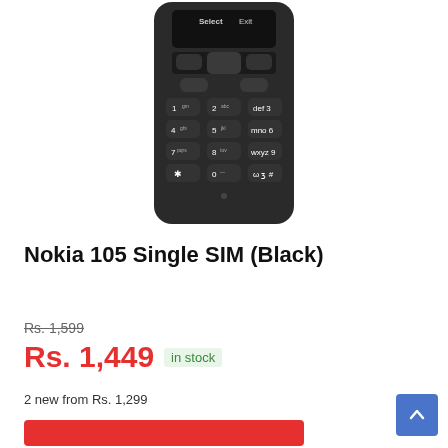[Figure (photo): Nokia 105 Single SIM Black feature phone showing the keypad with number keys 0-9, navigation keys, call and end keys, and a small display area at the top with 'Select' and 'Exit' labels visible.]
Nokia 105 Single SIM (Black)
Rs. 1,599
Rs. 1,449  in stock
2 new from Rs. 1,299